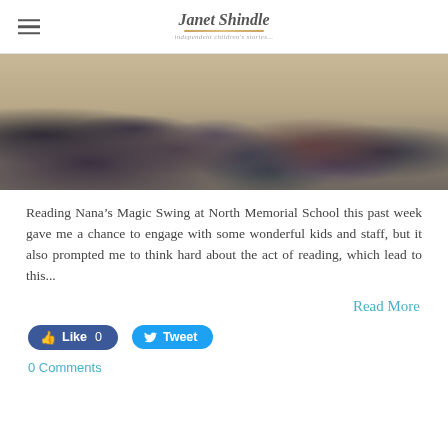Janet Shindle — independent children's stories...
[Figure (photo): Group of children sitting on a gym floor viewed from behind, with adults standing, at North Memorial School]
Reading Nana's Magic Swing at North Memorial School this past week gave me a chance to engage with some wonderful kids and staff, but it also prompted me to think hard about the act of reading, which lead to this...
Read More
Like 0   Tweet
0 Comments